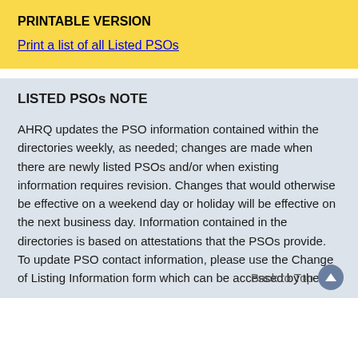PRINTABLE VERSION
Print a list of all Listed PSOs
LISTED PSOs NOTE
AHRQ updates the PSO information contained within the directories weekly, as needed; changes are made when there are newly listed PSOs and/or when existing information requires revision. Changes that would otherwise be effective on a weekend day or holiday will be effective on the next business day. Information contained in the directories is based on attestations that the PSOs provide. To update PSO contact information, please use the Change of Listing Information form which can be accessed by the
Back to Top